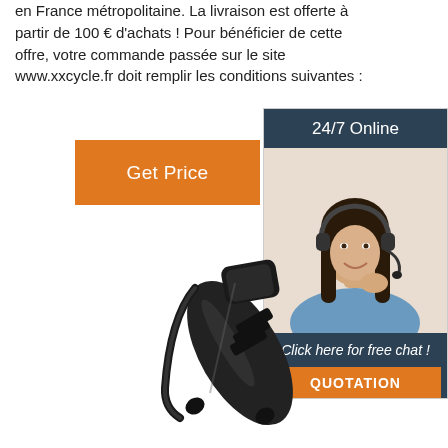en France métropolitaine. La livraison est offerte à partir de 100 € d'achats ! Pour bénéficier de cette offre, votre commande passée sur le site www.xxcycle.fr doit remplir les conditions suivantes :
[Figure (other): Orange 'Get Price' button]
[Figure (other): Live chat widget with '24/7 Online' header, photo of woman with headset, 'Click here for free chat!' text and orange QUOTATION button]
[Figure (photo): Black bicycle component/device - appears to be a handlebar mount or lock mechanism photographed on white background]